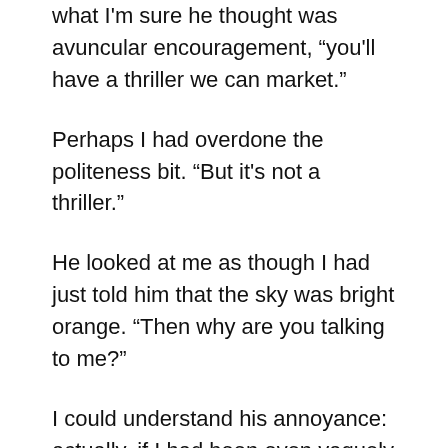what I'm sure he thought was avuncular encouragement, “you'll have a thriller we can market.”
Perhaps I had overdone the politeness bit. “But it's not a thriller.”
He looked at me as though I had just told him that the sky was bright orange. “Then why are you talking to me?”
I could understand his annoyance: actually, if I had been even vaguely interested in writing thrillers, his advice would have been manna from heaven. As would his 20-minute discourse about how people who read thrillers